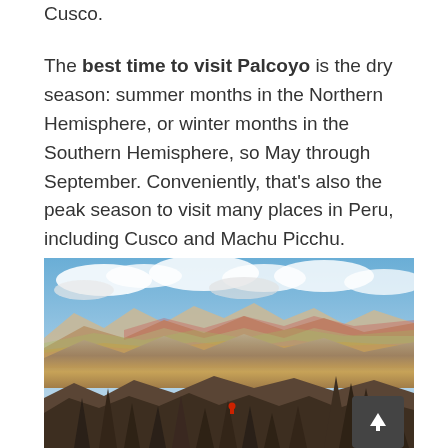Cusco.
The best time to visit Palcoyo is the dry season: summer months in the Northern Hemisphere, or winter months in the Southern Hemisphere, so May through September. Conveniently, that’s also the peak season to visit many places in Peru, including Cusco and Machu Picchu.
[Figure (photo): Aerial view of colorful Andean mountains (Palcoyo Rainbow Mountain area) with jagged rocky spires in the foreground, a person in red sitting on the rocks, and expansive multicolored mountain ridges and a cloudy sky in the background.]